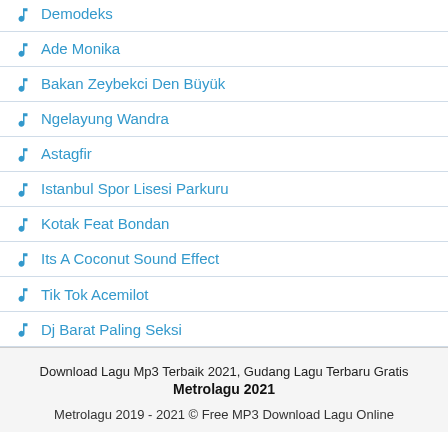Demodeks
Ade Monika
Bakan Zeybekci Den Büyük
Ngelayung Wandra
Astagfir
Istanbul Spor Lisesi Parkuru
Kotak Feat Bondan
Its A Coconut Sound Effect
Tik Tok Acemilot
Dj Barat Paling Seksi
Download Lagu Mp3 Terbaik 2021, Gudang Lagu Terbaru Gratis Metrolagu 2021
Metrolagu 2019 - 2021 © Free MP3 Download Lagu Online